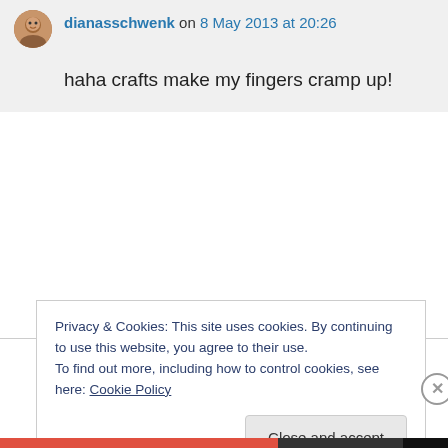dianasschwenk on 8 May 2013 at 20:26
haha crafts make my fingers cramp up!
Privacy & Cookies: This site uses cookies. By continuing to use this website, you agree to their use.
To find out more, including how to control cookies, see here: Cookie Policy
Close and accept